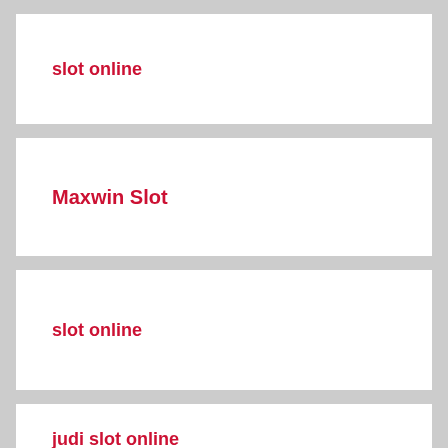slot online
Maxwin Slot
slot online
judi slot online